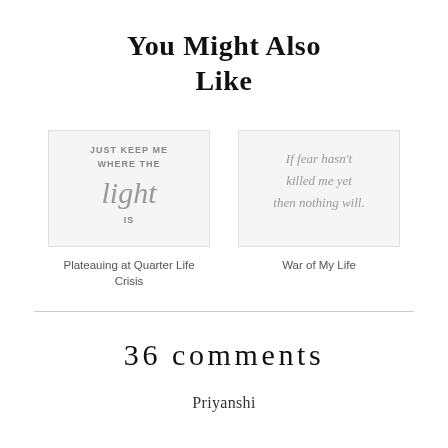You Might Also Like
[Figure (illustration): Decorative image with handwritten-style text reading: JUST KEEP ME WHERE THE light IS]
Plateauing at Quarter Life Crisis
[Figure (illustration): Decorative image with handwritten-style text reading: If fear hasn't killed me yet then nothing will.]
War of My Life
36 comments
Priyanshi